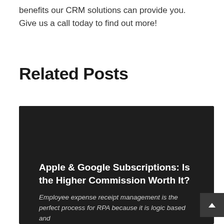benefits our CRM solutions can provide you. Give us a call today to find out more!
Related Posts
[Figure (other): Dark card with blog post preview. Title: 'Apple & Google Subscriptions: Is the Higher Commission Worth It?' with italic excerpt text 'Employee expense receipt management is the perfect process for RPA because it is logic based and...']